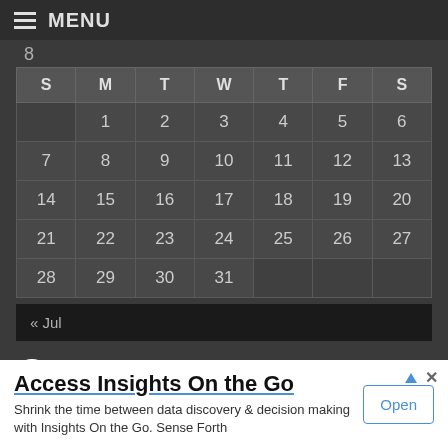MENU
| S | M | T | W | T | F | S |
| --- | --- | --- | --- | --- | --- | --- |
|  | 1 | 2 | 3 | 4 | 5 | 6 |
| 7 | 8 | 9 | 10 | 11 | 12 | 13 |
| 14 | 15 | 16 | 17 | 18 | 19 | 20 |
| 21 | 22 | 23 | 24 | 25 | 26 | 27 |
| 28 | 29 | 30 | 31 |  |  |  |
« Jul
Stay Up-to-Date
Access Insights On the Go
Shrink the time between data discovery & decision making with Insights On the Go. Sense Forth